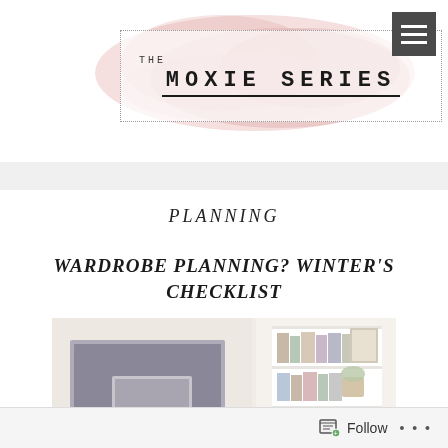[Figure (logo): The Moxie Series blog logo with pink watercolor background and dotted border rectangle]
PLANNING
WARDROBE PLANNING? WINTER'S CHECKLIST
[Figure (photo): Interior room photo showing white shelving unit with books and decorative items, and a framed photo on a desk]
Follow ...